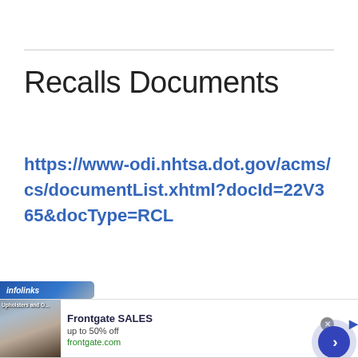Recalls Documents
https://www-odi.nhtsa.dot.gov/acms/cs/documentList.xhtml?docId=22V365&docType=RCL
[Figure (screenshot): Infolinks advertisement banner with Frontgate SALES ad showing outdoor furniture, 'up to 50% off', frontgate.com URL, and navigation arrow button]